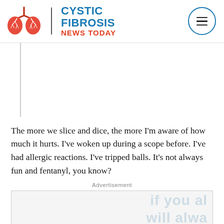Cystic Fibrosis News Today
The more we slice and dice, the more I'm aware of how much it hurts. I've woken up during a scope before. I've had allergic reactions. I've tripped balls. It's not always fun and fentanyl, you know?
Advertisement